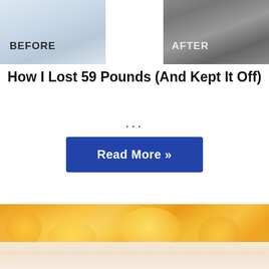[Figure (photo): Before and after weight loss photos side by side — left shows a person in white clothing labeled BEFORE, right shows legs/feet in athletic wear labeled AFTER]
How I Lost 59 Pounds (And Kept It Off)
…
Read More »
[Figure (photo): Blurred autumn leaves in orange and yellow tones]